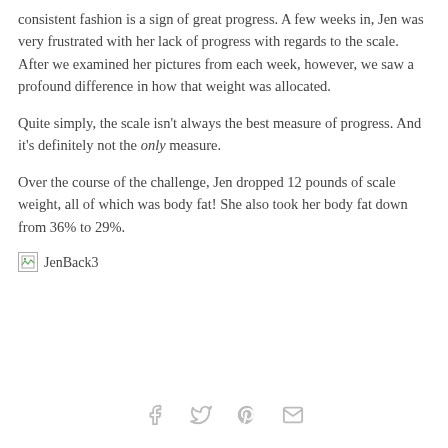consistent fashion is a sign of great progress.  A few weeks in, Jen was very frustrated with her lack of progress with regards to the scale.  After we examined her pictures from each week, however, we saw a profound difference in how that weight was allocated.
Quite simply, the scale isn't always the best measure of progress.  And it's definitely not the only measure.
Over the course of the challenge, Jen dropped 12 pounds of scale weight, all of which was body fat!  She also took her body fat down from 36% to 29%.
[Figure (photo): Broken image placeholder with alt text 'JenBack3']
Social share icons: Facebook, Twitter, Pinterest, Email